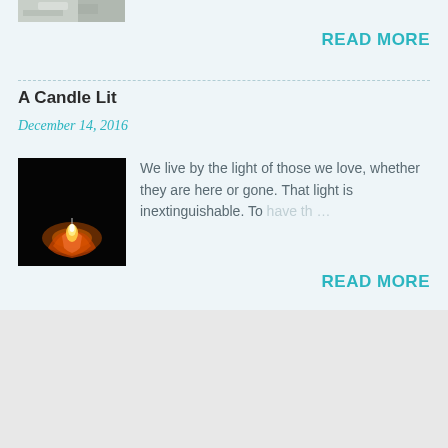[Figure (photo): Partial photo at top of page, appears to show feathers or texture, cropped]
READ MORE
A Candle Lit
December 14, 2016
[Figure (photo): Photo of a lit candle flame against a black background with orange glow]
We live by the light of those we love, whether they are here or gone. That light is inextinguishable. To have th …
READ MORE
[Figure (logo): Powered by Blogger logo with blogger B icon]
Lisa Southard